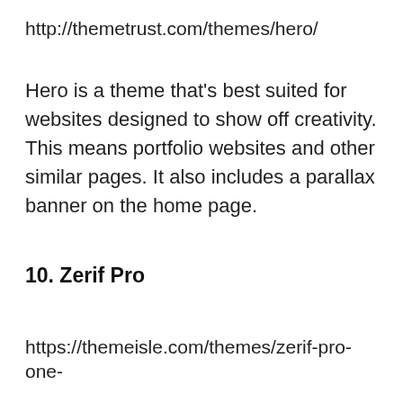http://themetrust.com/themes/hero/
Hero is a theme that's best suited for websites designed to show off creativity. This means portfolio websites and other similar pages. It also includes a parallax banner on the home page.
10. Zerif Pro
https://themeisle.com/themes/zerif-pro-one-